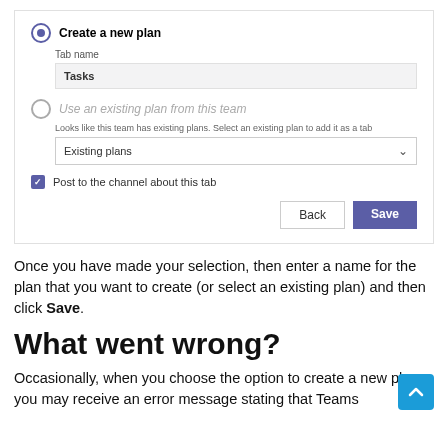[Figure (screenshot): UI screenshot showing a Microsoft Teams/Planner dialog with 'Create a new plan' radio selected (with Tab name field showing 'Tasks'), 'Use an existing plan from this team' radio unselected (with a hint text and 'Existing plans' dropdown), a checked checkbox 'Post to the channel about this tab', and Back/Save buttons.]
Once you have made your selection, then enter a name for the plan that you want to create (or select an existing plan) and then click Save.
What went wrong?
Occasionally, when you choose the option to create a new plan, you may receive an error message stating that Teams